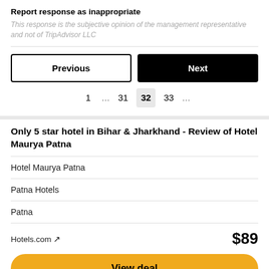Report response as inappropriate
This response is the subjective opinion of the management representative and not of TripAdvisor LLC
Previous
Next
1 … 31 32 33 …
Only 5 star hotel in Bihar & Jharkhand - Review of Hotel Maurya Patna
Hotel Maurya Patna
Patna Hotels
Patna
Hotels.com ↗  $89
View deal